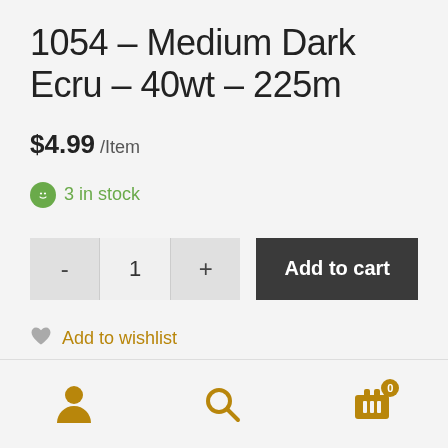1054 – Medium Dark Ecru – 40wt – 225m
$4.99 /Item
3 in stock
Add to cart
Add to wishlist